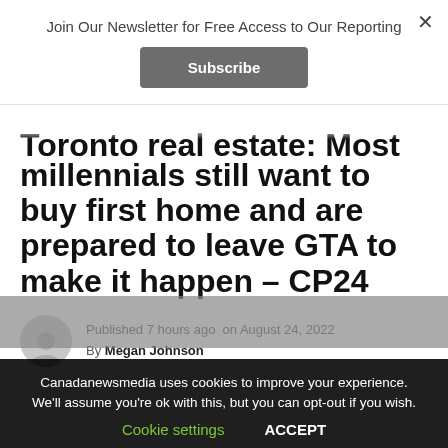Join Our Newsletter for Free Access to Our Reporting
Subscribe
Toronto real estate: Most millennials still want to buy first home and are prepared to leave GTA to make it happen – CP24
Published 7 hours ago on August 24, 2022
By Megan Johnson
Canadanewsmedia uses cookies to improve your experience. We'll assume you're ok with this, but you can opt-out if you wish.
Cookie settings
ACCEPT